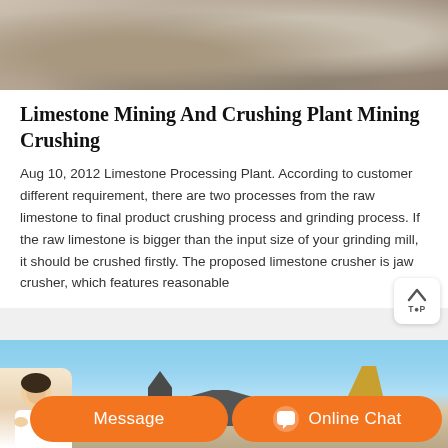[Figure (photo): Top portion of a limestone or rock surface photograph, showing rocky/sandy terrain in grey and brown tones]
Limestone Mining And Crushing Plant Mining Crushing
Aug 10, 2012 Limestone Processing Plant. According to customer different requirement, there are two processes from the raw limestone to final product crushing process and grinding process. If the raw limestone is bigger than the input size of your grinding mill, it should be crushed firstly. The proposed limestone crusher is jaw crusher, which features reasonable
[Figure (photo): Photograph of a limestone crushing plant with industrial machinery and equipment against a blue sky background, with a hopper/conveyor visible on the right side]
[Figure (photo): Customer service representative avatar image for online chat widget]
Message
Online Chat